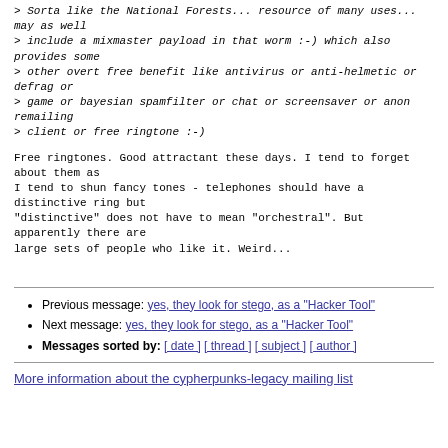> Sorta like the National Forests... resource of many uses... may as well
> include a mixmaster payload in that worm :-) which also provides some
> other overt free benefit like antivirus or anti-helmetic or defrag or
> game or bayesian spamfilter or chat or screensaver or anon remailing
> client or free ringtone :-)
Free ringtones. Good attractant these days. I tend to forget about them as
I tend to shun fancy tones - telephones should have a distinctive ring but
"distinctive" does not have to mean "orchestral". But apparently there are
large sets of people who like it. Weird...
Previous message: yes, they look for stego, as a "Hacker Tool"
Next message: yes, they look for stego, as a "Hacker Tool"
Messages sorted by: [ date ] [ thread ] [ subject ] [ author ]
More information about the cypherpunks-legacy mailing list